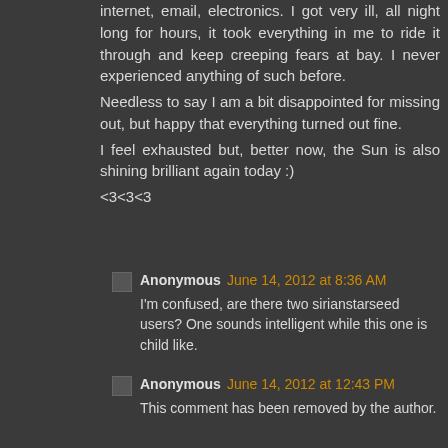internet, email, electronics. I got very ill, all night long for hours, it took everything in me to ride it through and keep creeping fears at bay. I never experienced anything of such before.
Needless to say I am a bit disappointed for missing out, but happy that everything turned out fine.
I feel exhausted but, better now, the Sun is also shining brilliant again today :)

<3<3<3
Anonymous June 14, 2012 at 8:36 AM
I'm confused, are there two sirianstarseed users? One sounds intelligent while this one is child like.
Anonymous June 14, 2012 at 12:43 PM
This comment has been removed by the author.